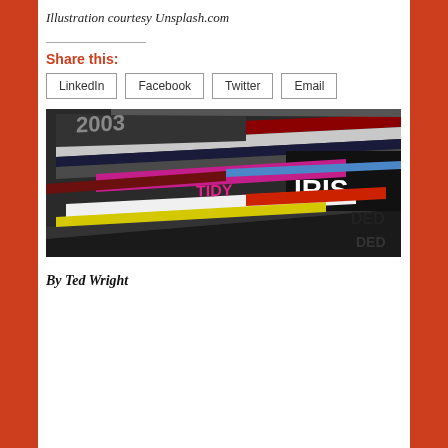Illustration courtesy Unsplash.com
Share this:
LinkedIn
Facebook
Twitter
Email
[Figure (photo): Stack of magazines displayed on a newsstand, showing various magazine titles including IRIS, viewed at an angle]
By Ted Wright